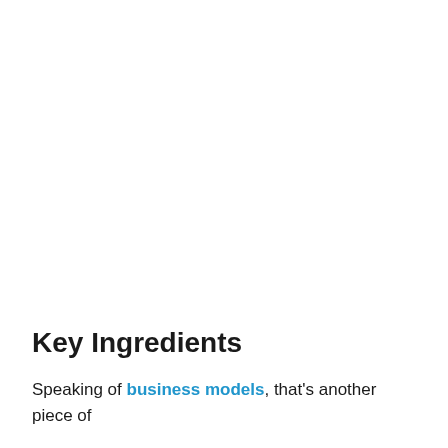Key Ingredients
Speaking of business models, that's another piece of